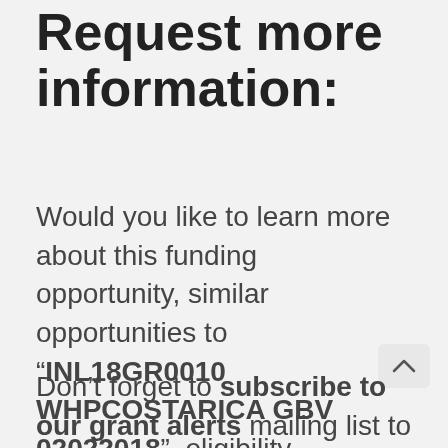Request more information:
Would you like to learn more about this funding opportunity, similar opportunities to "INL18GR0010 WHPCOSTARICA GBV 02022018", eligibility, application service, and/or application tips? Submit an inquiry below:
Don't forget to subscribe to our grant alerts mailing list to receive weekly alerts on new and updated grant funding